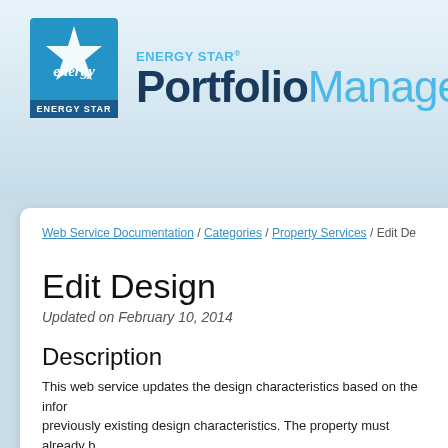[Figure (logo): ENERGY STAR Portfolio Manager logo with blue star icon and blue/navy text]
Web Service Documentation / Categories / Property Services / Edit De
Edit Design
Updated on February 10, 2014
Description
This web service updates the design characteristics based on the infor previously existing design characteristics. The property must already b
Version